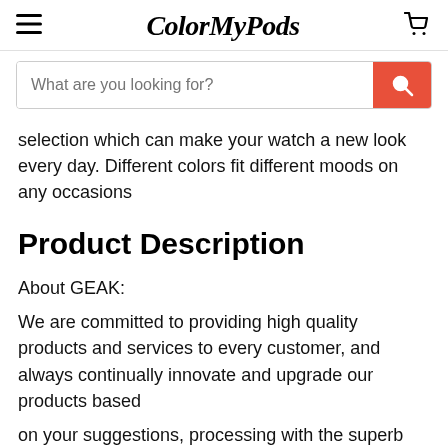ColorMyPods
selection which can make your watch a new look every day. Different colors fit different moods on any occasions
Product Description
About GEAK:
We are committed to providing high quality products and services to every customer, and always continually innovate and upgrade our products based
on your suggestions, processing with the superb skillful